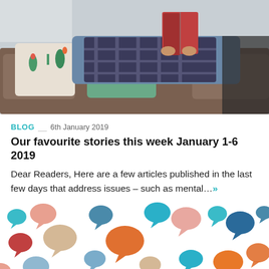[Figure (photo): Person lying on a couch reading a book, with decorative cactus-print pillows in the background]
BLOG — 6th January 2019
Our favourite stories this week January 1-6 2019
Dear Readers, Here are a few articles published in the last few days that address issues – such as mental…»
[Figure (illustration): Colorful speech bubble icons pattern in various sizes and colors (teal, orange, red, blue, beige, pink) on white background]